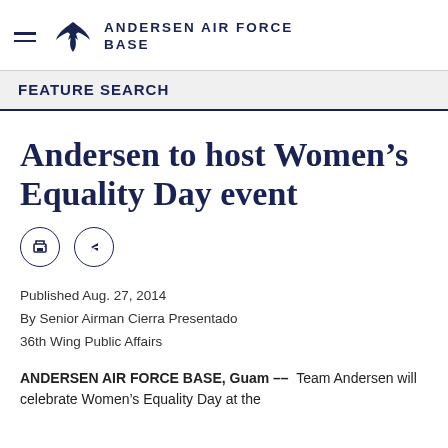ANDERSEN AIR FORCE BASE
FEATURE SEARCH
Andersen to host Women’s Equality Day event
Published Aug. 27, 2014
By Senior Airman Cierra Presentado
36th Wing Public Affairs
ANDERSEN AIR FORCE BASE, Guam --  Team Andersen will celebrate Women’s Equality Day at the